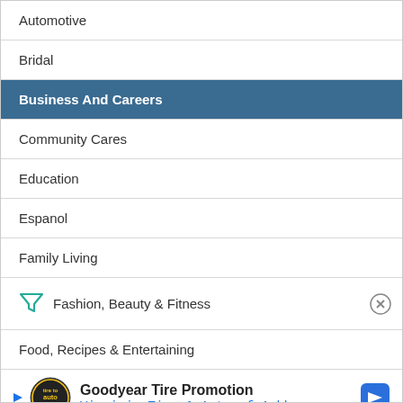Automotive
Bridal
Business And Careers
Community Cares
Education
Espanol
Family Living
Fashion, Beauty & Fitness
Food, Recipes & Entertaining
Gift I...
[Figure (infographic): Goodyear Tire Promotion advertisement banner: logo, title 'Goodyear Tire Promotion', subtitle 'Virginia Tire & Auto of Ashburn', navigation arrow icon]
Gourna...